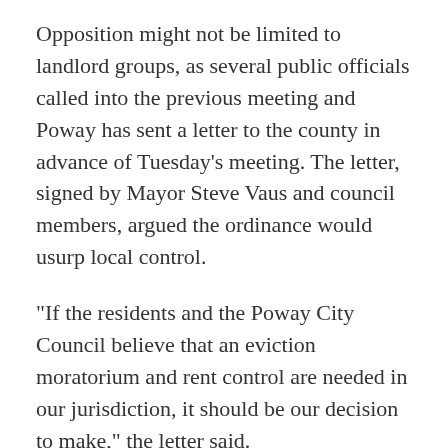Opposition might not be limited to landlord groups, as several public officials called into the previous meeting and Poway has sent a letter to the county in advance of Tuesday's meeting. The letter, signed by Mayor Steve Vaus and council members, argued the ordinance would usurp local control.
"If the residents and the Poway City Council believe that an eviction moratorium and rent control are needed in our jurisdiction, it should be our decision to make," the letter said.
Poway's letter also argued the City of San Diego's $92.2 million rent relief program has struggled to get applicants and, in their opinion, is a reason why more legislation is not needed. As of Thursday, there were 10,213 applicants for the program, still leaving